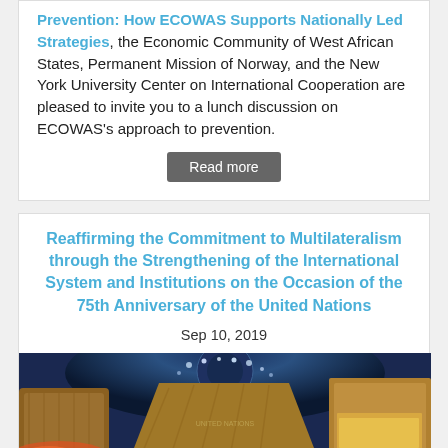Prevention: How ECOWAS Supports Nationally Led Strategies, the Economic Community of West African States, Permanent Mission of Norway, and the New York University Center on International Cooperation are pleased to invite you to a lunch discussion on ECOWAS's approach to prevention.
Read more
Reaffirming the Commitment to Multilateralism through the Strengthening of the International System and Institutions on the Occasion of the 75th Anniversary of the United Nations
Sep 10, 2019
[Figure (photo): Interior photo of a large circular hall with wooden panels and blue ceiling lights, likely a UN meeting room or assembly hall.]